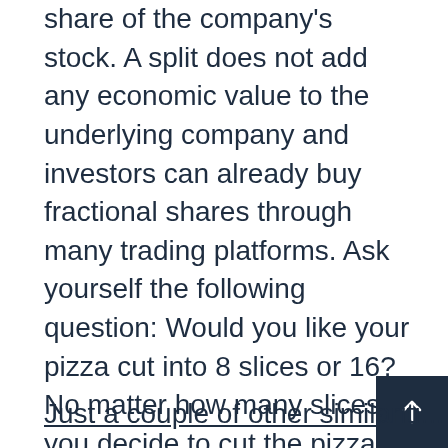share of the company's stock. A split does not add any economic value to the underlying company and investors can already buy fractional shares through many trading platforms. Ask yourself the following question: Would you like your pizza cut into 8 slices or 16? No matter how many slices you decide to cut the pizza into, you still have the same total amount. If non-value-additive stock splits and acquiring social media properties like TikTok juice your stock price, more company managements may likely be considering doing the same, but we would not rely on that as an investment strategy.
Just a couple of other similarities...